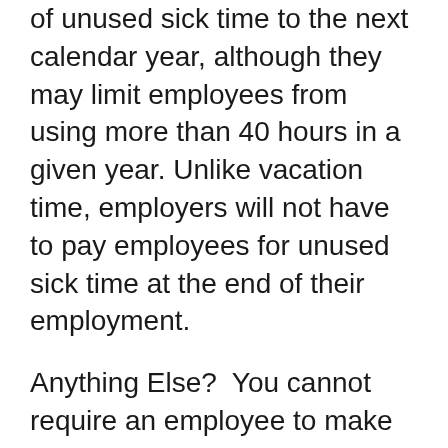of unused sick time to the next calendar year, although they may limit employees from using more than 40 hours in a given year. Unlike vacation time, employers will not have to pay employees for unused sick time at the end of their employment.
Anything Else?  You cannot require an employee to make up time lost to sickness.  In addition, you cannot require a sick employee to find someone to cover his or her shift.  Finally, you cannot punish an employee or give a lower performance rating because the employee legitimately used sick time.  The Massachusetts Attorney General